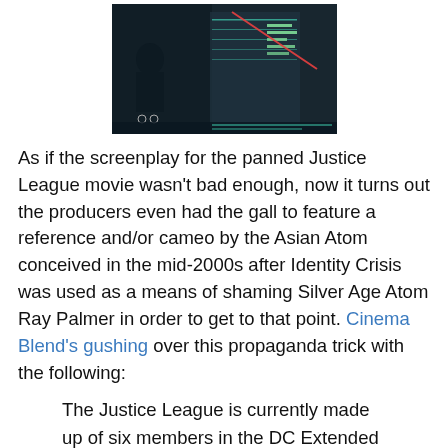[Figure (screenshot): Screenshot of a dark video game or movie scene with a HUD/interface overlay showing green text and a red diagonal line element]
As if the screenplay for the panned Justice League movie wasn't bad enough, now it turns out the producers even had the gall to feature a reference and/or cameo by the Asian Atom conceived in the mid-2000s after Identity Crisis was used as a means of shaming Silver Age Atom Ray Palmer in order to get to that point. Cinema Blend's gushing over this propaganda trick with the following:
The Justice League is currently made up of six members in the DC Extended Universe, but just like in the main DC Comics mythology, there are others out there fighting evil. From Batgirl and Nightwing to Green Lantern and Shazam, there are many superheroes who are slated to debut in the DCEU over the coming years, but the Justice League movie snuck in a fittingly small Easter Egg for a benevolent character who hasn't been